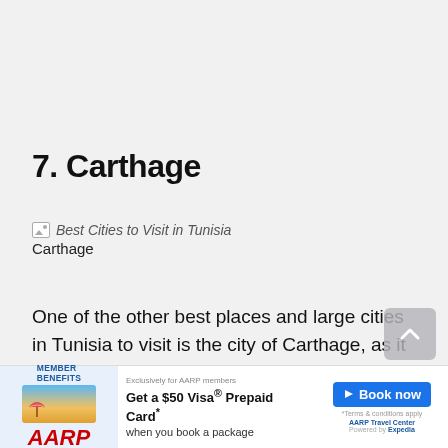7. Carthage
[Figure (illustration): Broken image placeholder labeled 'Best Cities to Visit in Tunisia' with caption 'Carthage' below]
One of the other best places and large cities in Tunisia to visit is the city of Carthage, as it has recreational areas and monuments, as well as many places. The most important feature of this city is the National Museum of Carthage includes many antiques and especially the Islamic era, dating back to several and